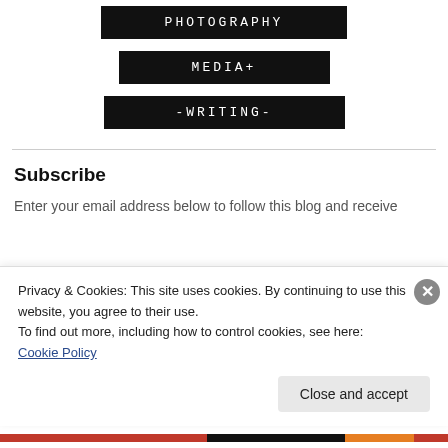[Figure (other): Navigation button with black background and white monospace text reading PHOTOGRAPHY]
[Figure (other): Navigation button with black background and white monospace text reading MEDIA+]
[Figure (other): Navigation button with black background and white monospace text reading -WRITING-]
Subscribe
Enter your email address below to follow this blog and receive
Privacy & Cookies: This site uses cookies. By continuing to use this website, you agree to their use.
To find out more, including how to control cookies, see here: Cookie Policy
Close and accept